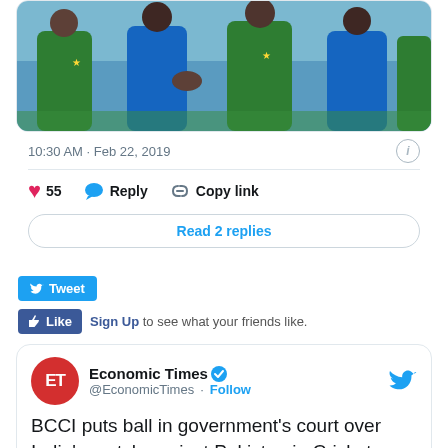[Figure (photo): Cricket players in blue and green uniforms shaking hands on the field]
10:30 AM · Feb 22, 2019
55   Reply   Copy link
Read 2 replies
Tweet
Like   Sign Up to see what your friends like.
Economic Times @EconomicTimes · Follow
BCCI puts ball in government's court over India's match against Pakistan in Cricket World Cup. goo.gl/dHR8y3